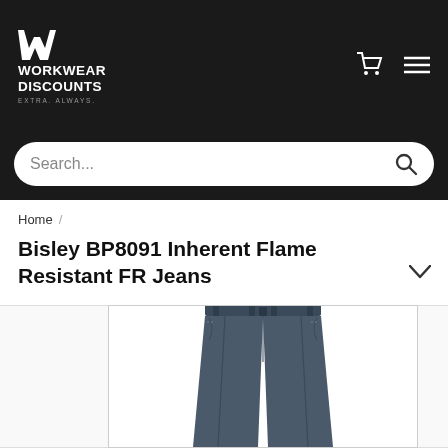[Figure (logo): Workwear Discounts logo — white double-chevron W icon above text WORKWEAR DISCOUNTS, EXTRA. ALWAYS. tagline in dark header]
[Figure (screenshot): Header navigation with shopping cart icon and hamburger menu icon on dark background]
[Figure (screenshot): Search bar with placeholder text Search... and magnifying glass icon]
Home /
Bisley BP8091 Inherent Flame Resistant FR Jeans
[Figure (photo): Product photo of dark navy/denim flame-resistant jeans (Bisley BP8091) shown front view from waist down, photographed against white background, partially cropped at bottom of page]